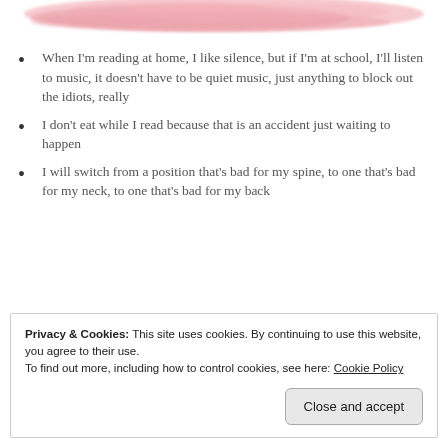[Figure (illustration): Pink/rose watercolor brush stroke banner at top of page, partially cropped]
When I'm reading at home, I like silence, but if I'm at school, I'll listen to music, it doesn't have to be quiet music, just anything to block out the idiots, really
I don't eat while I read because that is an accident just waiting to happen
I will switch from a position that's bad for my spine, to one that's bad for my neck, to one that's bad for my back
Privacy & Cookies: This site uses cookies. By continuing to use this website, you agree to their use.
To find out more, including how to control cookies, see here: Cookie Policy